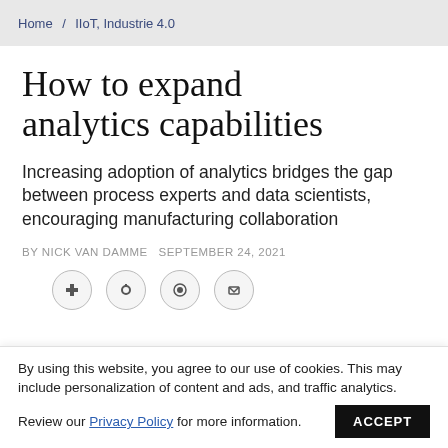Home / IIoT, Industrie 4.0
How to expand analytics capabilities
Increasing adoption of analytics bridges the gap between process experts and data scientists, encouraging manufacturing collaboration
BY NICK VAN DAMME  SEPTEMBER 24, 2021
[Figure (other): Row of four social sharing icon buttons (circles with icons inside)]
By using this website, you agree to our use of cookies. This may include personalization of content and ads, and traffic analytics. Review our Privacy Policy for more information.
ACCEPT